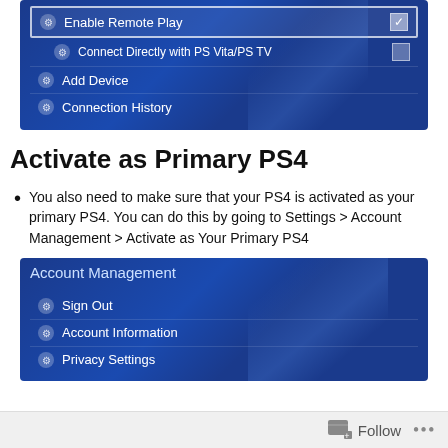[Figure (screenshot): PS4 Remote Play settings screen showing: Enable Remote Play (checked), Connect Directly with PS Vita/PS TV (unchecked), Add Device, Connection History menu items on blue background]
Activate as Primary PS4
You also need to make sure that your PS4 is activated as your primary PS4. You can do this by going to Settings > Account Management > Activate as Your Primary PS4
[Figure (screenshot): PS4 Account Management screen showing Sign Out, Account Information, Privacy Settings menu items on blue gradient background]
Follow ...